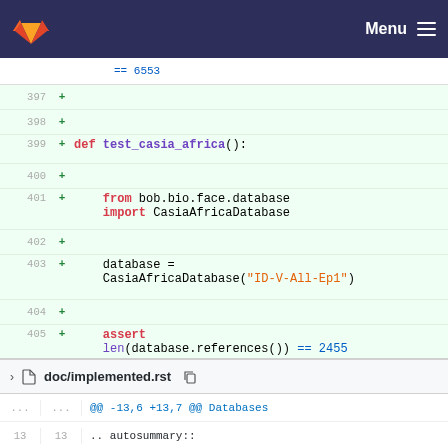[Figure (screenshot): GitLab navigation bar with fox logo and Menu hamburger icon on dark navy background]
== 6553
397 +
398 +
399 + def test_casia_africa():
400 +
401 +     from bob.bio.face.database import CasiaAfricaDatabase
402 +
403 +     database = CasiaAfricaDatabase("ID-V-All-Ep1")
404 +
405 +     assert len(database.references()) == 2455
406 +     assert len(database.probes()) == 2426
doc/implemented.rst
@@ -13,6 +13,7 @@ Databases
13   13   .. autosummary::